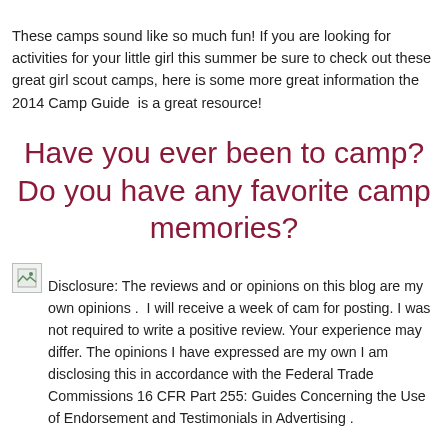These camps sound like so much fun! If you are looking for activities for your little girl this summer be sure to check out these great girl scout camps, here is some more great information the 2014 Camp Guide  is a great resource!
Have you ever been to camp? Do you have any favorite camp memories?
Disclosure: The reviews and or opinions on this blog are my own opinions .  I will receive a week of cam for posting. I was not required to write a positive review. Your experience may differ. The opinions I have expressed are my own I am disclosing this in accordance with the Federal Trade Commissions 16 CFR Part 255: Guides Concerning the Use of Endorsement and Testimonials in Advertising .